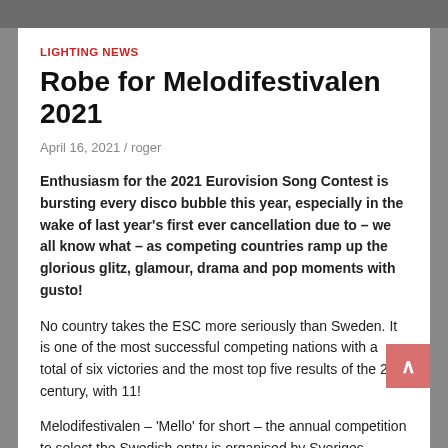LIGHTING NEWS
Robe for Melodifestivalen 2021
April 16, 2021 / roger
Enthusiasm for the 2021 Eurovision Song Contest is bursting every disco bubble this year, especially in the wake of last year's first ever cancellation due to – we all know what – as competing countries ramp up the glorious glitz, glamour, drama and pop moments with gusto!
No country takes the ESC more seriously than Sweden. It is one of the most successful competing nations with a total of six victories and the most top five results of the 21st century, with 11!
Melodifestivalen – 'Mello' for short – the annual competition to select the Swedish entry is organised by Sveriges Television and is a phenomenon in itself! In recent years, it has been a touring show visiting six key